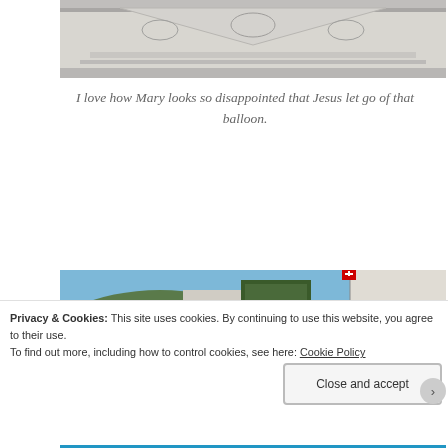[Figure (photo): Top portion of a building facade with classical architectural elements, pediment and molding details, gray stone]
I love how Mary looks so disappointed that Jesus let go of that balloon.
[Figure (photo): Street view of European city (likely Zurich, Switzerland) showing a row of historic buildings with Swiss flags, green ivy on buildings, a decorative ornamental sign on a white building at right, lake visible in background]
Privacy & Cookies: This site uses cookies. By continuing to use this website, you agree to their use. To find out more, including how to control cookies, see here: Cookie Policy
Close and accept